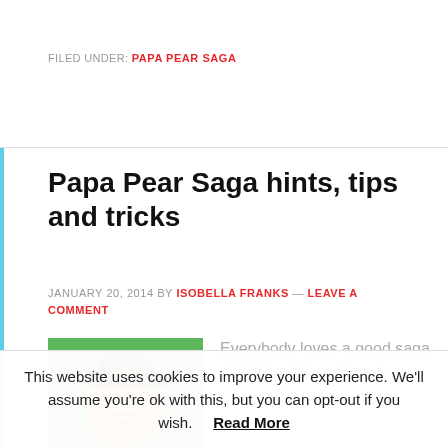FILED UNDER: PAPA PEAR SAGA
Papa Pear Saga hints, tips and tricks
JANUARY 20, 2014 BY ISOBELLA FRANKS — LEAVE A COMMENT
[Figure (illustration): Papa Pear Saga game character on green background — a pear wearing a sombrero with a star]
Everybody loves a good saga right? And Papa Pear is...
This website uses cookies to improve your experience. We'll assume you're ok with this, but you can opt-out if you wish. Read More